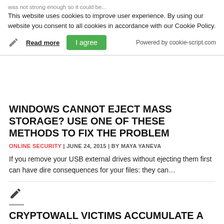was not strong enough so it could be...
This website uses cookies to improve user experience. By using our website you consent to all cookies in accordance with our Cookie Policy.
Read more   I agree   Powered by cookie-script.com
WINDOWS CANNOT EJECT MASS STORAGE? USE ONE OF THESE METHODS TO FIX THE PROBLEM
ONLINE SECURITY | JUNE 24, 2015 | BY MAYA YANEVA
If you remove your USB external drives without ejecting them first can have dire consequences for your files: they can...
CRYPTOWALL VICTIMS ACCUMULATE A WHOPPING $18 MILLION IN COSTS SINCE 2014, FBI REPORTS
ONLINE SECURITY | JUNE 24, 2015 | BY MAYA YANEVA
The FBI has reported that the Cryptowall ransomware infection has led to user expenses of over $18 million in a...